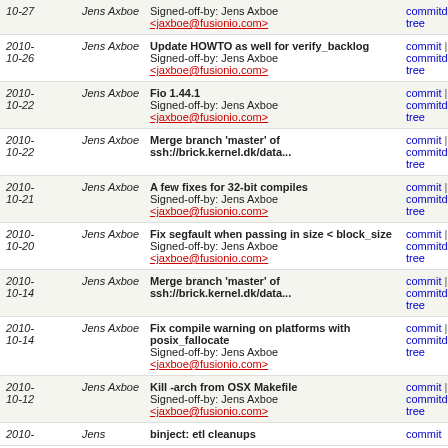| Date | Author | Message | Links |
| --- | --- | --- | --- |
| 2010-10-27 | Jens Axboe | Signed-off-by: Jens Axboe <jaxboe@fusionio.com> | commitdiff | tree |
| 2010-10-26 | Jens Axboe | Update HOWTO as well for verify_backlog
Signed-off-by: Jens Axboe <jaxboe@fusionio.com> | commit | commitdiff | tree |
| 2010-10-22 | Jens Axboe | Fio 1.44.1
Signed-off-by: Jens Axboe <jaxboe@fusionio.com> | commit | commitdiff | tree |
| 2010-10-22 | Jens Axboe | Merge branch 'master' of ssh://brick.kernel.dk/data... | commit | commitdiff | tree |
| 2010-10-21 | Jens Axboe | A few fixes for 32-bit compiles
Signed-off-by: Jens Axboe <jaxboe@fusionio.com> | commit | commitdiff | tree |
| 2010-10-20 | Jens Axboe | Fix segfault when passing in size < block_size
Signed-off-by: Jens Axboe <jaxboe@fusionio.com> | commit | commitdiff | tree |
| 2010-10-14 | Jens Axboe | Merge branch 'master' of ssh://brick.kernel.dk/data... | commit | commitdiff | tree |
| 2010-10-14 | Jens Axboe | Fix compile warning on platforms with posix_fallocate
Signed-off-by: Jens Axboe <jaxboe@fusionio.com> | commit | commitdiff | tree |
| 2010-10-12 | Jens Axboe | Kill -arch from OSX Makefile
Signed-off-by: Jens Axboe <jaxboe@fusionio.com> | commit | commitdiff | tree |
| 2010-... | Jens ... | binject: etl cleanups | commit |